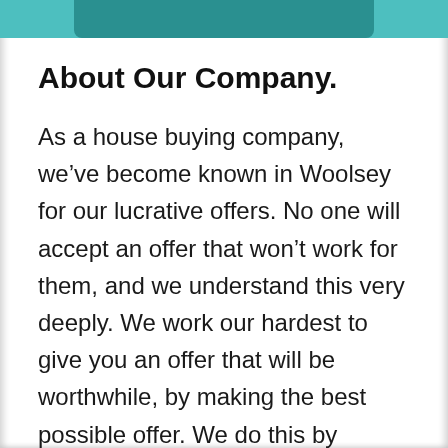[Figure (photo): Teal/turquoise banner image at top of page, partially visible]
About Our Company.
As a house buying company, we've become known in Woolsey for our lucrative offers. No one will accept an offer that won't work for them, and we understand this very deeply. We work our hardest to give you an offer that will be worthwhile, by making the best possible offer. We do this by keeping our renovating costs low, and by having a thorough analysis